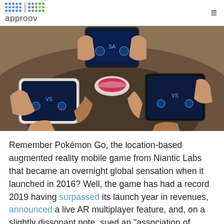approov
[Figure (photo): Overhead view of multiple people holding smartphones playing a mobile game showing VS battle screens]
Remember Pokémon Go, the location-based augmented reality mobile game from Niantic Labs that became an overnight global sensation when it launched in 2016? Well, the game has had a record 2019 having surpassed its launch year in revenues, announced a live AR multiplayer feature, and, on a slightly dissonant note, sued an "association of hackers" for creating and distributing unauthorized derivative versions of the